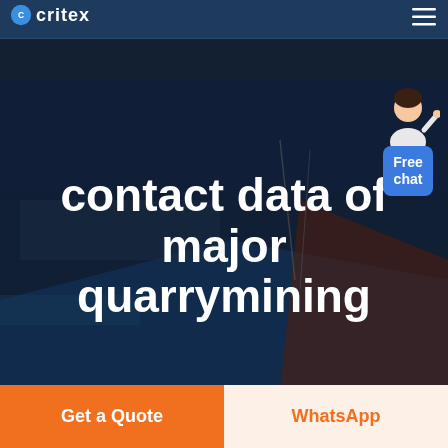critex (logo) [navigation bar with hamburger menu]
[Figure (photo): Aerial photograph of a quarry or mining facility with dark blue overlay, showing industrial structures and open land from above.]
[Figure (illustration): Small customer service avatar (woman in white jacket) next to a blue 'Free chat' button widget in the top right corner.]
contact data of major quarrymining
Get a Quote
WhatsApp